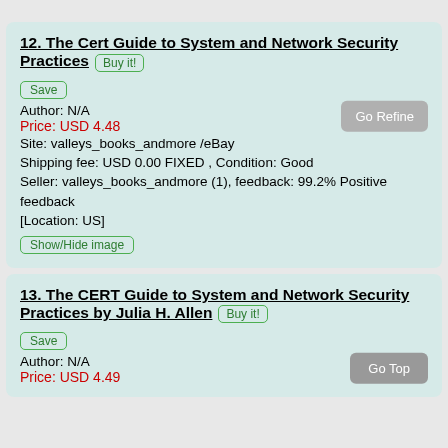12. The Cert Guide to System and Network Security Practices [Buy it!] [Save] Author: N/A Price: USD 4.48 Site: valleys_books_andmore /eBay Shipping fee: USD 0.00 FIXED , Condition: Good Seller: valleys_books_andmore (1), feedback: 99.2% Positive feedback [Location: US] [Show/Hide image] [Go Refine]
13. The CERT Guide to System and Network Security Practices by Julia H. Allen [Buy it!] [Save] Author: N/A Price: USD 4.49 [Go Top]